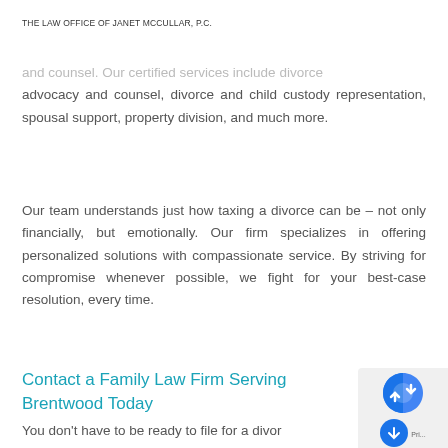THE LAW OFFICE OF JANET MCCULLAR, P.C.
and counsel. Our certified services include divorce advocacy and counsel, divorce and child custody representation, spousal support, property division, and much more.
Our team understands just how taxing a divorce can be – not only financially, but emotionally. Our firm specializes in offering personalized solutions with compassionate service. By striving for compromise whenever possible, we fight for your best-case resolution, every time.
Contact a Family Law Firm Serving Brentwood Today
You don't have to be ready to file for a divorce to schedule a consultation with the Law Office of Janet...